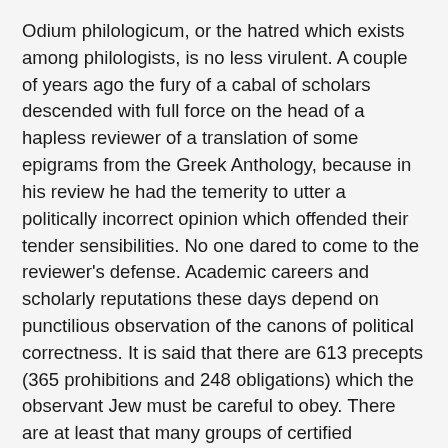Odium philologicum, or the hatred which exists among philologists, is no less virulent. A couple of years ago the fury of a cabal of scholars descended with full force on the head of a hapless reviewer of a translation of some epigrams from the Greek Anthology, because in his review he had the temerity to utter a politically incorrect opinion which offended their tender sensibilities. No one dared to come to the reviewer's defense. Academic careers and scholarly reputations these days depend on punctilious observation of the canons of political correctness. It is said that there are 613 precepts (365 prohibitions and 248 obligations) which the observant Jew must be careful to obey. There are at least that many groups of certified "victims" today which anyone who makes public pronouncements must take care not to offend.
I remember reading somewhere that the eminent Latinist A.E. Housman used to keep a notebook in which he recorded choice insults, until such time as he found a suitable opponent to direct them against. Whether that story is true or not, it's undeniable that his writings are full of